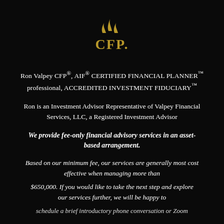[Figure (logo): CFP logo with flame/wave marks above 'CFP.' text in gold on black background]
Ron Valpey CFP®, AIF® CERTIFIED FINANCIAL PLANNER™ professional, ACCREDITED INVESTMENT FIDUCIARY™
Ron is an Investment Advisor Representative of Valpey Financial Services, LLC, a Registered Investment Advisor
We provide fee-only financial advisory services in an asset-based arrangement.
Based on our minimum fee, our services are generally most cost effective when managing more than
$650,000. If you would like to take the next step and explore our services further, we will be happy to
schedule a brief introductory phone conversation or Zoom